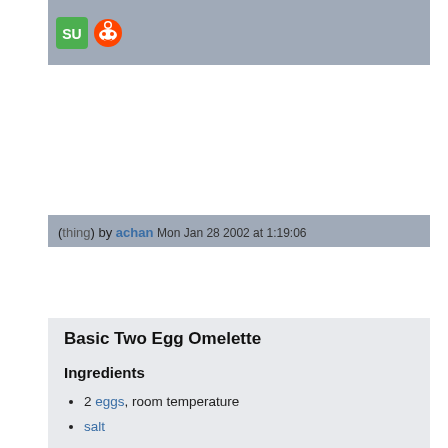[Figure (logo): Social sharing icons: StumbleUpon and Reddit logos on a grey-blue bar]
(thing) by achan Mon Jan 28 2002 at 1:19:06
Basic Two Egg Omelette
Ingredients
2 eggs, room temperature
salt
pepper
1 tbsp butter
Crack eggs on the counter top and pour into a mixing bowl, beat eggs together with salt and pepper.  In a non-stick pan over medium-high heat melt the butter.  When the butter has melted and the bubbling slows down